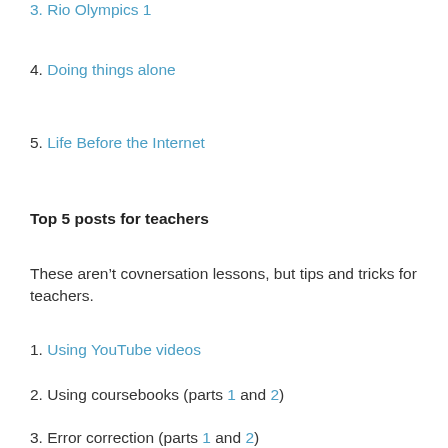3. Rio Olympics 1
4. Doing things alone
5. Life Before the Internet
Top 5 posts for teachers
These aren’t covnersation lessons, but tips and tricks for teachers.
1. Using YouTube videos
2. Using coursebooks (parts 1 and 2)
3. Error correction (parts 1 and 2)